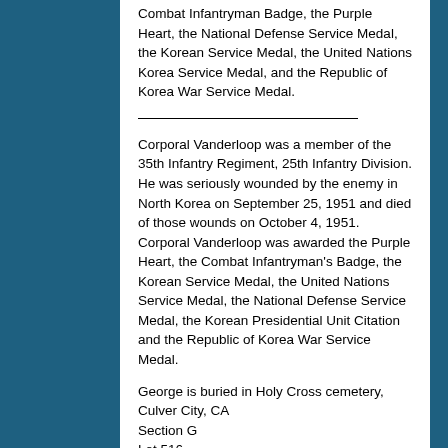Combat Infantryman Badge, the Purple Heart, the National Defense Service Medal, the Korean Service Medal, the United Nations Korea Service Medal, and the Republic of Korea War Service Medal.
Corporal Vanderloop was a member of the 35th Infantry Regiment, 25th Infantry Division. He was seriously wounded by the enemy in North Korea on September 25, 1951 and died of those wounds on October 4, 1951. Corporal Vanderloop was awarded the Purple Heart, the Combat Infantryman's Badge, the Korean Service Medal, the United Nations Service Medal, the National Defense Service Medal, the Korean Presidential Unit Citation and the Republic of Korea War Service Medal.
George is buried in Holy Cross cemetery, Culver City, CA
Section G
Lot 516
Grave 5